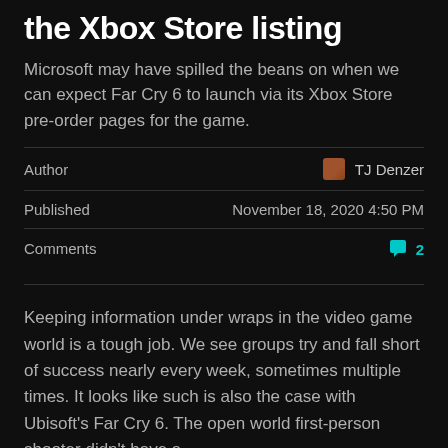the Xbox Store listing
Microsoft may have spilled the beans on when we can expect Far Cry 6 to launch via its Xbox Store pre-order pages for the game.
| Label | Value |
| --- | --- |
| Author | TJ Denzer |
| Published | November 18, 2020 4:50 PM |
| Comments | 2 |
Keeping information under wraps in the video game world is a tough job. We see groups try and fall short of success nearly every week, sometimes multiple times. It looks like such is also the case with Ubisoft's Far Cry 6. The open world first-person shooter didn't have a